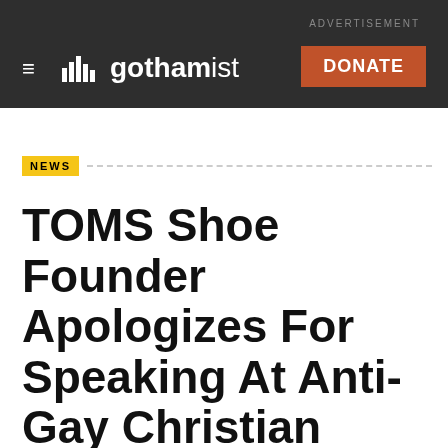ADVERTISEMENT
gothamist — DONATE
NEWS
TOMS Shoe Founder Apologizes For Speaking At Anti-Gay Christian Group Event